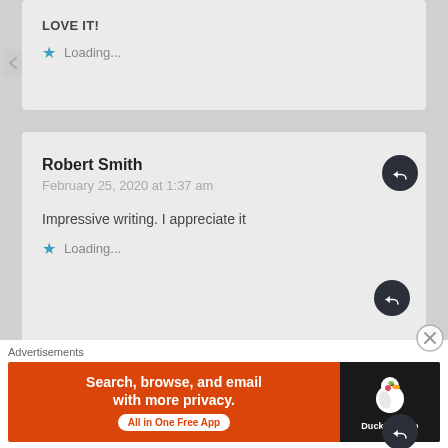LOVE IT!
★ Loading...
Robert Smith
February 25, 2020 at 1:37 am
Impressive writing. I appreciate it
★ Loading...
Passport Overused
February 23, 2020 at 12:55 pm
Advertisements
[Figure (screenshot): DuckDuckGo advertisement banner: Search, browse, and email with more privacy. All in One Free App. DuckDuckGo logo on dark background.]